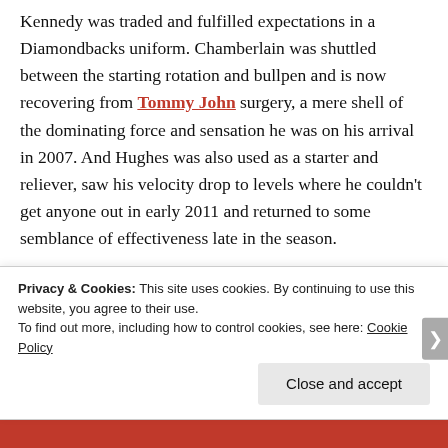Kennedy was traded and fulfilled expectations in a Diamondbacks uniform. Chamberlain was shuttled between the starting rotation and bullpen and is now recovering from Tommy John surgery, a mere shell of the dominating force and sensation he was on his arrival in 2007. And Hughes was also used as a starter and reliever, saw his velocity drop to levels where he couldn't get anyone out in early 2011 and returned to some semblance of effectiveness late in the season.

Hughes is a tradable commodity fighting for his spot in the starting rotation with non-existent on-field
Privacy & Cookies: This site uses cookies. By continuing to use this website, you agree to their use. To find out more, including how to control cookies, see here: Cookie Policy
Close and accept